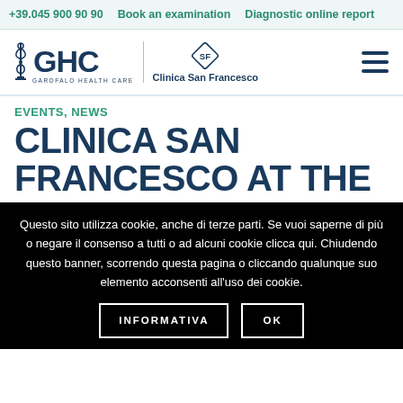+39.045 900 90 90   Book an examination   Diagnostic online report
[Figure (logo): GHC Garofalo Health Care logo and Clinica San Francesco logo with navigation hamburger menu]
EVENTS, NEWS
CLINICA SAN FRANCESCO AT THE
Questo sito utilizza cookie, anche di terze parti. Se vuoi saperne di più o negare il consenso a tutti o ad alcuni cookie clicca qui. Chiudendo questo banner, scorrendo questa pagina o cliccando qualunque suo elemento acconsenti all'uso dei cookie.
INFORMATIVA   OK